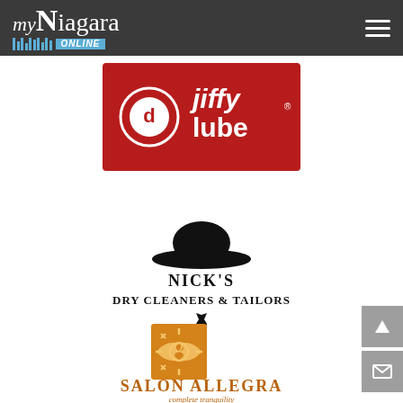myNiagara ONLINE
[Figure (logo): Jiffy Lube logo on red background with circular arrow icon]
[Figure (logo): Nick's Dry Cleaners & Tailors logo with bowler hat and tie icons]
[Figure (logo): Salon Allegra logo with orange decorative square icon and text 'complete tranquility']